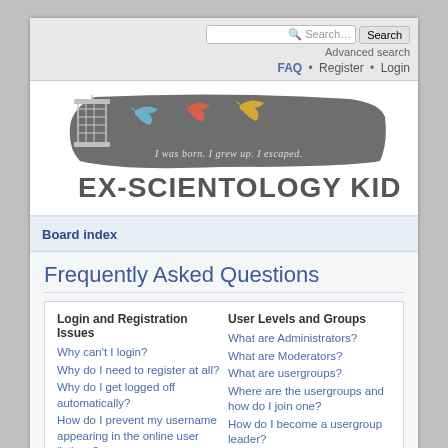[Figure (logo): Ex-Scientology Kids logo with bird cage, three birds (blue, red/orange, yellow), dark brush stroke background, text 'I was born. I grew up. I escaped.' and large bold text 'EX-SCIENTOLOGY KIDS']
Search… Search Advanced search FAQ • Register • Login
Board index
Frequently Asked Questions
Login and Registration Issues
Why can't I login?
Why do I need to register at all?
Why do I get logged off automatically?
How do I prevent my username appearing in the online user listings?
I've lost my password!
I registered but cannot login!
I registered in the past but cannot login any more?!
User Levels and Groups
What are Administrators?
What are Moderators?
What are usergroups?
Where are the usergroups and how do I join one?
How do I become a usergroup leader?
Why do some usergroups appear in a different colour?
What is a "Default usergroup"?